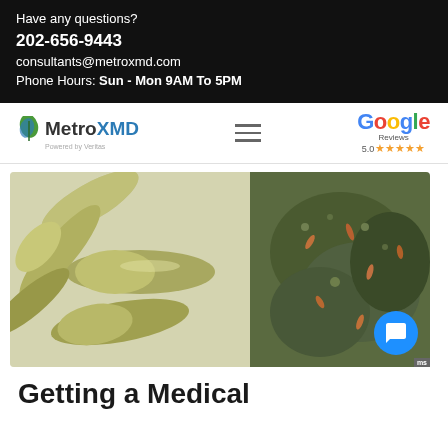Have any questions?
202-656-9443
consultants@metroxmd.com
Phone Hours: Sun - Mon 9AM To 5PM
[Figure (logo): MetroXMD logo with green leaf icon and tagline 'Powered by Veritas']
[Figure (logo): Google Reviews logo with 5.0 star rating]
[Figure (photo): Close-up photo of green cannabis capsules/pills on the left and cannabis flower/bud on the right, on a white surface]
Getting a Medical